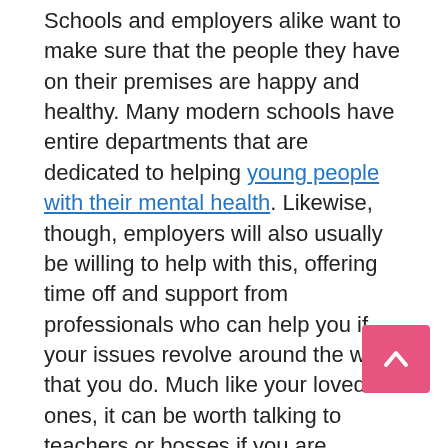Schools and employers alike want to make sure that the people they have on their premises are happy and healthy. Many modern schools have entire departments that are dedicated to helping young people with their mental health. Likewise, though, employers will also usually be willing to help with this, offering time off and support from professionals who can help you if your issues revolve around the work that you do. Much like your loved ones, it can be worth talking to teachers or bosses if you are struggling with your mental health.
Professional Support
Finally, as the last idea on this list, it's time to think about getting professional support. Getting help from a pro can be an excellent way to improve your